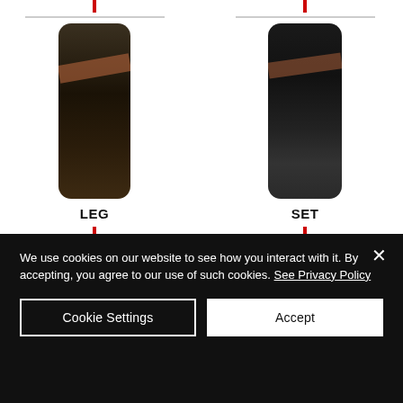[Figure (photo): Partially visible product card on left showing a dark bottle/bag with a red vertical bar indicator and gray separator lines, labeled 'LEG' (truncated)]
[Figure (photo): Partially visible product card on right showing a dark bag/product with a red vertical bar indicator and gray separator lines, labeled 'SET' (truncated)]
We use cookies on our website to see how you interact with it. By accepting, you agree to our use of such cookies. See Privacy Policy
Cookie Settings
Accept